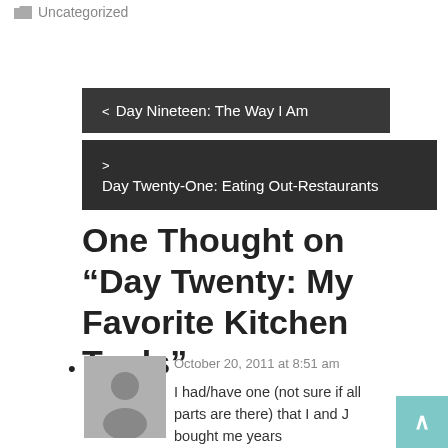Uncategorized
< Day Nineteen: The Way I Am
> Day Twenty-One: Eating Out-Restaurants
One Thought on “Day Twenty: My Favorite Kitchen Tools”
October 20, 2011 at 8:51 am
I had/have one (not sure if all parts are there) that I and J bought me years